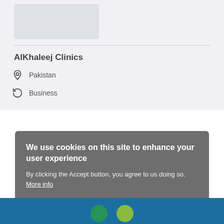[Figure (other): Grey placeholder image box for AlKhaleej Clinics logo or header image]
AlKhaleej Clinics
Pakistan
Business
We use cookies on this site to enhance your user experience
By clicking the Accept button, you agree to us doing so. More info
ACCEPT
NO, THANKS